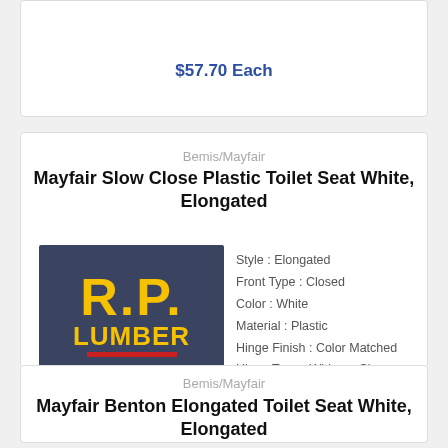$57.70 Each
Bemis/Mayfair
Mayfair Slow Close Plastic Toilet Seat White, Elongated
[Figure (logo): R.P. Lumber logo with yellow text on dark blue/navy background, tagline: BEST SERVICE. BEST VALUE.]
Style : Elongated
Front Type : Closed
Color : White
Material : Plastic
Hinge Finish : Color Matched
Hinge Type : Whisper Close with STA-TITE Seat
$37.80 Each
Bemis/Mayfair
Mayfair Benton Elongated Toilet Seat White, Elongated